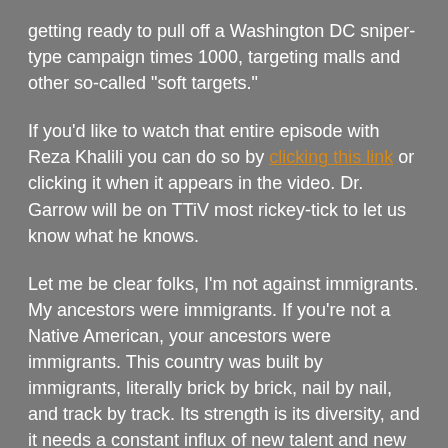getting ready to pull off a Washington DC sniper-type campaign times 1000, targeting malls and other so-called "soft targets."
If you'd like to watch that entire episode with Reza Khalili you can do so by clicking this link or clicking it when it appears in the video. Dr. Garrow will be on TTiV most rickey-tick to let us know what he knows.
Let me be clear folks, I'm not against immigrants. My ancestors were immigrants. If you're not a Native American, your ancestors were immigrants. This country was built by immigrants, literally brick by brick, nail by nail, and track by track. Its strength is its diversity, and it needs a constant influx of new talent and new ideas in order to maintain its status as one of the best places in the world to live; but what is happening now in Texas, Arizona, and California is not even a flood of illegal immigrants, it's a destructive tsunami designed to place an unmanageable and overwhelming burden on the United States. And it must be stopped.
I'm not heartless, I'm really not, and I don't think that a